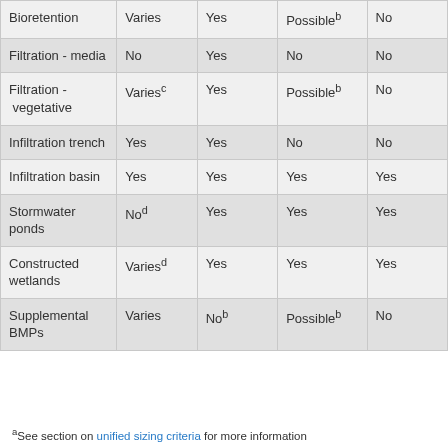| Bioretention | Varies | Yes | Possible^b | No |
| Filtration - media | No | Yes | No | No |
| Filtration - vegetative | Varies^c | Yes | Possible^b | No |
| Infiltration trench | Yes | Yes | No | No |
| Infiltration basin | Yes | Yes | Yes | Yes |
| Stormwater ponds | No^d | Yes | Yes | Yes |
| Constructed wetlands | Varies^d | Yes | Yes | Yes |
| Supplemental BMPs | Varies | No^b | Possible^b | No |
aSee section on unified sizing criteria for more information